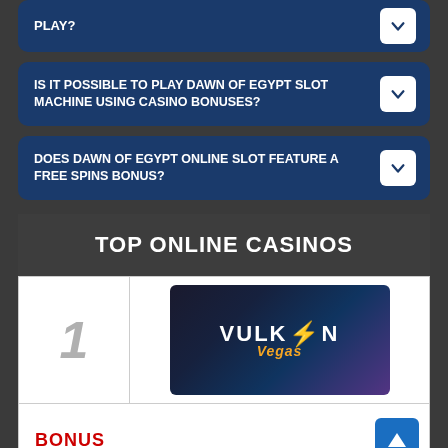PLAY?
IS IT POSSIBLE TO PLAY DAWN OF EGYPT SLOT MACHINE USING CASINO BONUSES?
DOES DAWN OF EGYPT ONLINE SLOT FEATURE A FREE SPINS BONUS?
TOP ONLINE CASINOS
| Rank | Casino | Bonus |
| --- | --- | --- |
| 1 | Vulkan Vegas | BONUS |